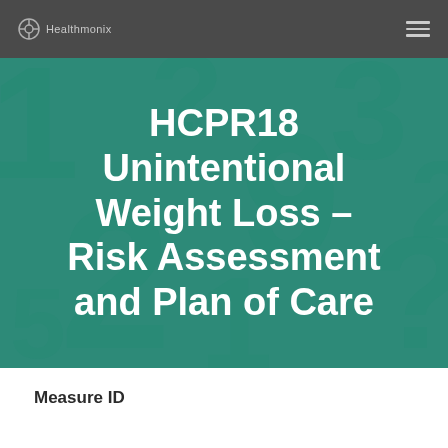Healthmonix
HCPR18 Unintentional Weight Loss – Risk Assessment and Plan of Care
Measure ID